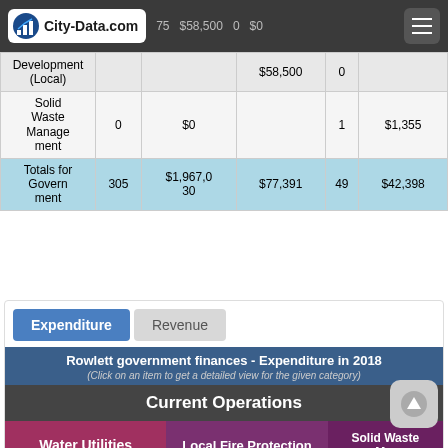City-Data.com
| Category | Full-time employees | Full-time payroll | Part-time/temp payroll | Part-time employees | Part-time payroll |
| --- | --- | --- | --- | --- | --- |
| Community Development (Local) |  |  | $58,500 | 0 | $0 |
| Solid Waste Management | 0 | $0 |  | 1 | $1,355 |
| Totals for Government | 305 | $1,967,030 | $77,391 | 49 | $42,398 |
Expenditure | Revenue
Rowlett government finances - Expenditure in 2018
(Click on an item to get a detailed view for the given category)
Current Operations
Water Utilities | Local Fire Protection | Solid Waste M...